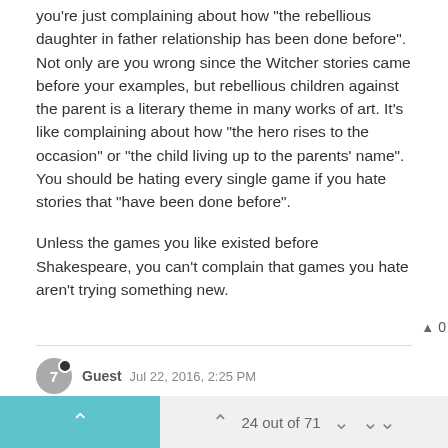you're just complaining about how "the rebellious daughter in father relationship has been done before". Not only are you wrong since the Witcher stories came before your examples, but rebellious children against the parent is a literary theme in many works of art. It's like complaining about how "the hero rises to the occasion" or "the child living up to the parents' name". You should be hating every single game if you hate stories that "have been done before".
Unless the games you like existed before Shakespeare, you can't complain that games you hate aren't trying something new.
▲ 0
Guest Jul 22, 2016, 2:25 PM
@Stormcrownn said in A Witcher 3 review that I agree with:
@Whoaness You are correct, and you made me realize I take more issue with how its presented in the context of the world. It's not explained enough in the beginning, as with the rest of the signs.

Sanderson's Laws of Magic are a set of three laws that I believe are very
24 out of 71